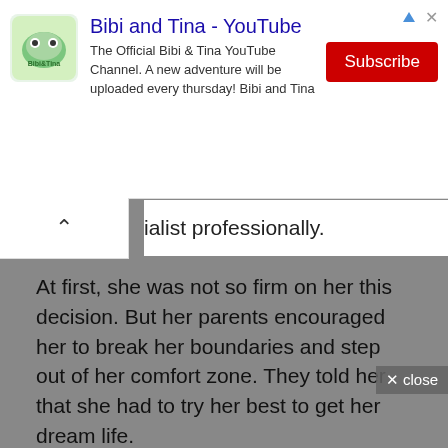[Figure (screenshot): YouTube advertisement banner for 'Bibi and Tina' channel showing logo, channel title, description text, and Subscribe button]
list professionally.
At first, she was not so firm on her this decision. But her parents encouraged her to break her boundaries and step out of her comfort zone. They told her that she had to try her best to get her dream life.
With this motivation from her parents, Abby became so determined that now she is counted as one of the best journalists and anchors. Her career as a journalist started in 2014 when she worked for Fox Sports Media under an internship. She covered several media and news and handled some live broadcasts well.